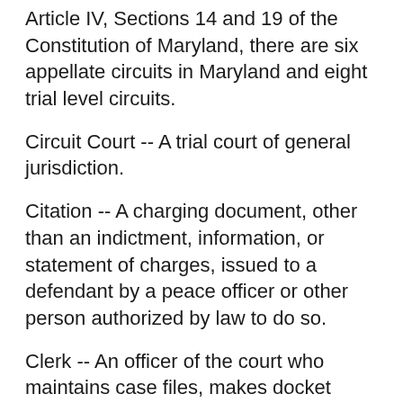Article IV, Sections 14 and 19 of the Constitution of Maryland, there are six appellate circuits in Maryland and eight trial level circuits.
Circuit Court -- A trial court of general jurisdiction.
Citation -- A charging document, other than an indictment, information, or statement of charges, issued to a defendant by a peace officer or other person authorized by law to do so.
Clerk -- An officer of the court who maintains case files, makes docket entries, issues process, and generally serves as the ministerial arm of the court.